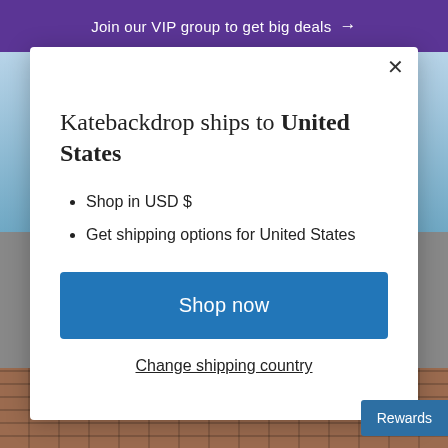Join our VIP group to get big deals →
Katebackdrop ships to United States
Shop in USD $
Get shipping options for United States
Shop now
Change shipping country
Rewards